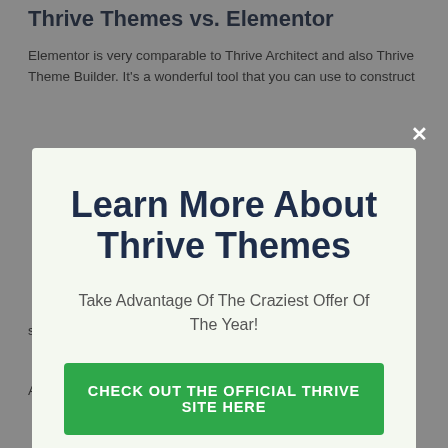Thrive Themes vs. Elementor
Elementor is very comparable to Thrive Architect and also Thrive Theme Builder. It's a wonderful tool that you can use to construct
[Figure (screenshot): A modal popup overlay with a light green background containing the heading 'Learn More About Thrive Themes', subtitle 'Take Advantage Of The Craziest Offer Of The Year!', a green call-to-action button labeled 'CHECK OUT THE OFFICIAL THRIVE SITE HERE', and a dismiss link 'No thanks, I'm not interested!'. There is a white X close button in the upper right of the overlay.]
suite of advertising on connected devices.
Although Elementor excels in all the current layout patterns,